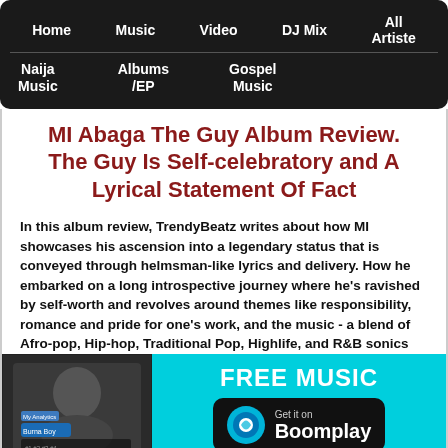Home | Music | Video | DJ Mix | All Artiste | Naija Music | Albums /EP | Gospel Music
MI Abaga The Guy Album Review. The Guy Is Self-celebratory and A Lyrical Statement Of Fact
In this album review, TrendyBeatz writes about how MI showcases his ascension into a legendary status that is conveyed through helmsman-like lyrics and delivery. How he embarked on a long introspective journey where he's ravished by self-worth and revolves around themes like responsibility, romance and pride for one's work, and the music - a blend of Afro-pop, Hip-hop, Traditional Pop, Highlife, and R&B sonics
[Figure (infographic): Boomplay FREE MUSIC advertisement banner with a person's photo on the left and Boomplay logo and text on the right on a cyan background]